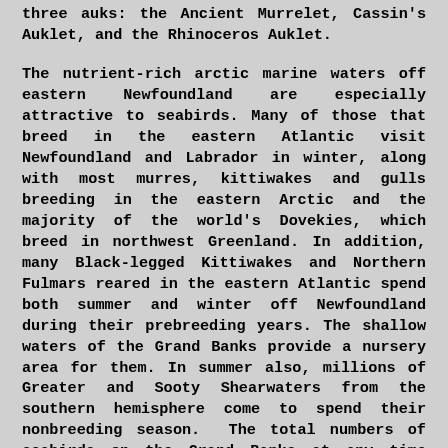three auks: the Ancient Murrelet, Cassin's Auklet, and the Rhinoceros Auklet.
The nutrient-rich arctic marine waters off eastern Newfoundland are especially attractive to seabirds. Many of those that breed in the eastern Atlantic visit Newfoundland and Labrador in winter, along with most murres, kittiwakes and gulls breeding in the eastern Arctic and the majority of the world's Dovekies, which breed in northwest Greenland. In addition, many Black-legged Kittiwakes and Northern Fulmars reared in the eastern Atlantic spend both summer and winter off Newfoundland during their prebreeding years. The shallow waters of the Grand Banks provide a nursery area for them. In summer also, millions of Greater and Sooty Shearwaters from the southern hemisphere come to spend their nonbreeding season. The total numbers of seabirds on the Grand Banks at any time therefore greatly exceeds the local breeding population. The birds, like the European fishing fleets of earlier centuries, come to exploit some of the most productive waters in the world. The health of the marine ecosystem off Newfoundland and Labrador is